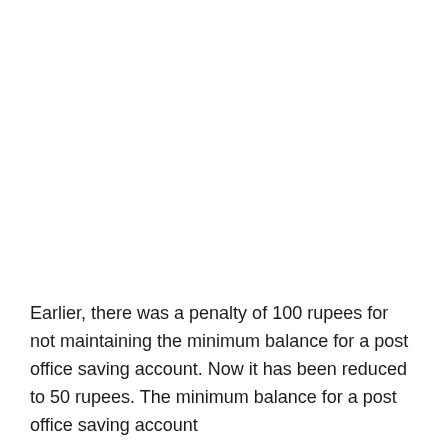Earlier, there was a penalty of 100 rupees for not maintaining the minimum balance for a post office saving account. Now it has been reduced to 50 rupees. The minimum balance for a post office saving account